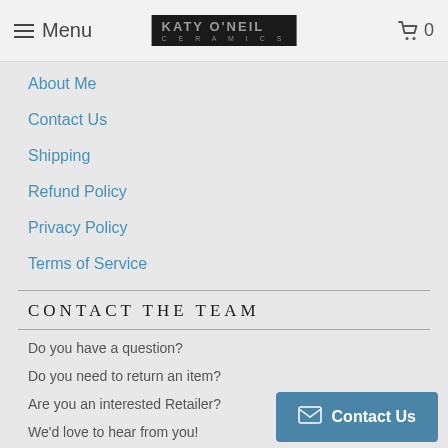Menu | KATY O'NEIL CERAMICS | 0
About Me
Contact Us
Shipping
Refund Policy
Privacy Policy
Terms of Service
CONTACT THE TEAM
Do you have a question?
Do you need to return an item?
Are you an interested Retailer?
We'd love to hear from you!